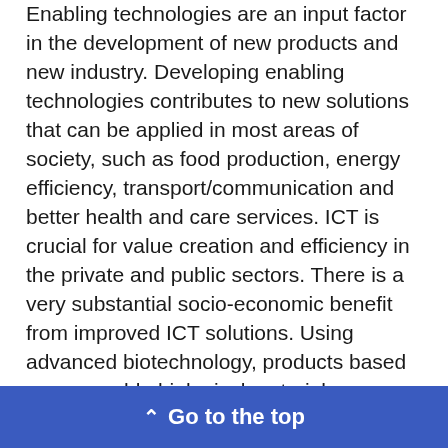Enabling technologies are an input factor in the development of new products and new industry. Developing enabling technologies contributes to new solutions that can be applied in most areas of society, such as food production, energy efficiency, transport/communication and better health and care services. ICT is crucial for value creation and efficiency in the private and public sectors. There is a very substantial socio-economic benefit from improved ICT solutions. Using advanced biotechnology, products based on renewable biological material can replace nearly all petroleum-based products, including energy. Nanotechnology is also important in realising a low-emission society with extensive use of clean energy sources.
Go to the top